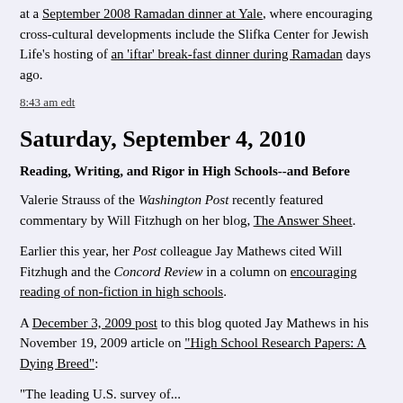at a September 2008 Ramadan dinner at Yale, where encouraging cross-cultural developments include the Slifka Center for Jewish Life's hosting of an 'iftar' break-fast dinner during Ramadan days ago.
8:43 am edt
Saturday, September 4, 2010
Reading, Writing, and Rigor in High Schools--and Before
Valerie Strauss of the Washington Post recently featured commentary by Will Fitzhugh on her blog, The Answer Sheet.
Earlier this year, her Post colleague Jay Mathews cited Will Fitzhugh and the Concord Review in a column on encouraging reading of non-fiction in high schools.
A December 3, 2009 post to this blog quoted Jay Mathews in his November 19, 2009 article on "High School Research Papers: A Dying Breed":
"The leading U.S. survey of...